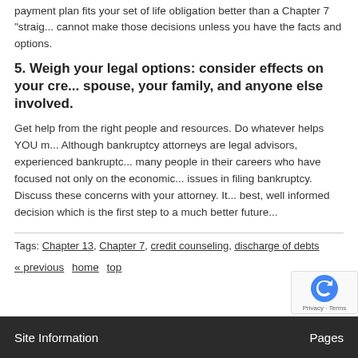payment plan fits your set of life obligation better than a Chapter 7 "straig... cannot make those decisions unless you have the facts and options.
5.  Weigh your legal options: consider effects on your cre... spouse, your family, and anyone else involved.
Get help from the right people and resources. Do whatever helps YOU m... Although bankruptcy attorneys are legal advisors, experienced bankruptc... many people in their careers who have focused not only on the economic... issues in filing bankruptcy.  Discuss these concerns with your attorney.  It... best, well informed decision which is the first step to a much better future...
Tags: Chapter 13, Chapter 7, credit counseling, discharge of debts
« previous home top
Site Information    Pages